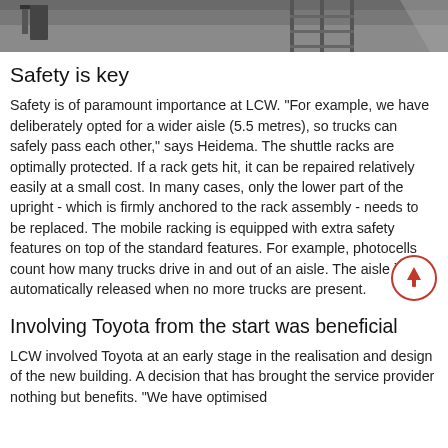[Figure (photo): Top portion of a warehouse/industrial photo showing forklift and shelving racks]
Safety is key
Safety is of paramount importance at LCW. "For example, we have deliberately opted for a wider aisle (5.5 metres), so trucks can safely pass each other," says Heidema. The shuttle racks are optimally protected. If a rack gets hit, it can be repaired relatively easily at a small cost. In many cases, only the lower part of the upright - which is firmly anchored to the rack assembly - needs to be replaced. The mobile racking is equipped with extra safety features on top of the standard features. For example, photocells count how many trucks drive in and out of an aisle. The aisle is automatically released when no more trucks are present.
Involving Toyota from the start was beneficial
LCW involved Toyota at an early stage in the realisation and design of the new building. A decision that has brought the service provider nothing but benefits. "We have optimised